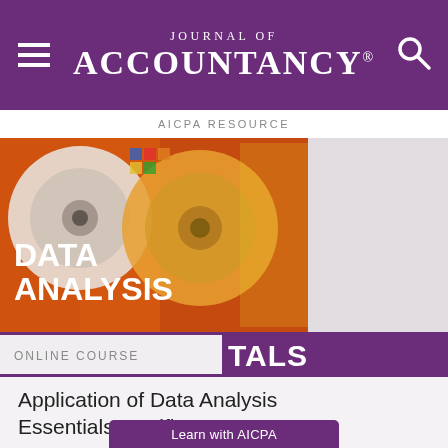Journal of Accountancy
AICPA RESOURCE
[Figure (illustration): Data Analysis Essentials online course product image with colorful CD/disk artwork and bold text reading DATA ANALYSIS overlaid, with ONLINE COURSE and TALS banner below]
Application of Data Analysis Essentials Certificate
Online Course
$839 – $999
Special pricing for AICPA members
Learn with AICPA